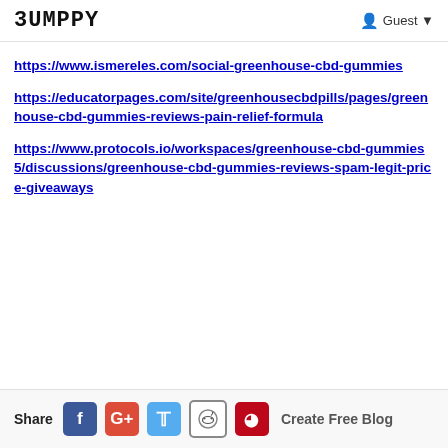BUMPPY  Guest
https://www.ismereles.com/social-greenhouse-cbd-gummies
https://educatorpages.com/site/greenhousecbdpills/pages/greenhouse-cbd-gummies-reviews-pain-relief-formula
https://www.protocols.io/workspaces/greenhouse-cbd-gummies5/discussions/greenhouse-cbd-gummies-reviews-spam-legit-price-giveaways
Share  [Facebook] [Google+] [Twitter] [Reddit] [Pinterest]  Create Free Blog